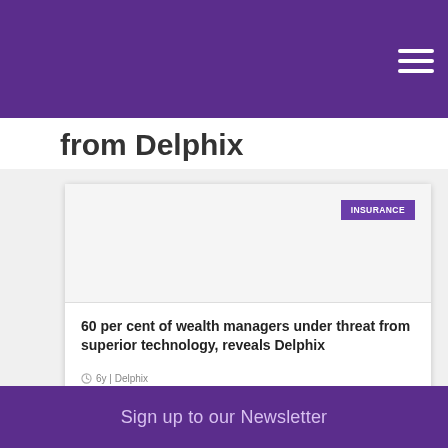from Delphix
[Figure (screenshot): Card with INSURANCE badge label in purple, white image area placeholder]
60 per cent of wealth managers under threat from superior technology, reveals Delphix
6y | Delphix
Sign up to our Newsletter